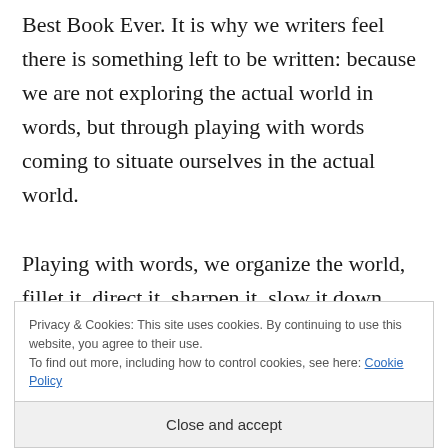Best Book Ever. It is why we writers feel there is something left to be written: because we are not exploring the actual world in words, but through playing with words coming to situate ourselves in the actual world.

Playing with words, we organize the world, fillet it, direct it, sharpen it, slow it down, speed it up, deceive it, chop it
Privacy & Cookies: This site uses cookies. By continuing to use this website, you agree to their use.
To find out more, including how to control cookies, see here: Cookie Policy
Close and accept